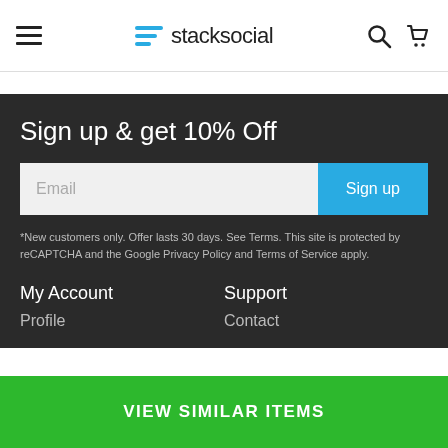stacksocial
Sign up & get 10% Off
Email
Sign up
*New customers only. Offer lasts 30 days. See Terms. This site is protected by reCAPTCHA and the Google Privacy Policy and Terms of Service apply.
My Account
Profile
Support
Contact
VIEW SIMILAR ITEMS